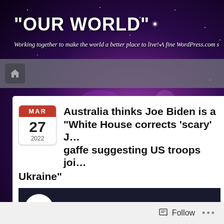"OUR WORLD"
Working together to make the world a better place to live! A fine WordPress.com s
Australia thinks Joe Biden is a … "White House corrects 'scary' J… gaffe suggesting US troops join… Ukraine"
White House corrects 'scary' Joe Biden ga…
Follow ...